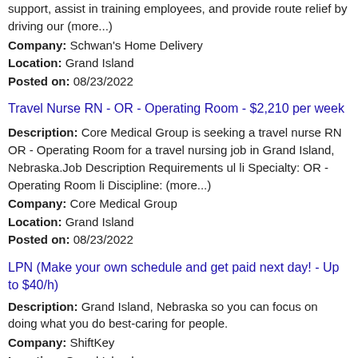support, assist in training employees, and provide route relief by driving our (more...)
Company: Schwan's Home Delivery
Location: Grand Island
Posted on: 08/23/2022
Travel Nurse RN - OR - Operating Room - $2,210 per week
Description: Core Medical Group is seeking a travel nurse RN OR - Operating Room for a travel nursing job in Grand Island, Nebraska.Job Description Requirements ul li Specialty: OR - Operating Room li Discipline: (more...)
Company: Core Medical Group
Location: Grand Island
Posted on: 08/23/2022
LPN (Make your own schedule and get paid next day! - Up to $40/h)
Description: Grand Island, Nebraska so you can focus on doing what you do best-caring for people.
Company: ShiftKey
Location: Grand Island
Posted on: 08/23/2022